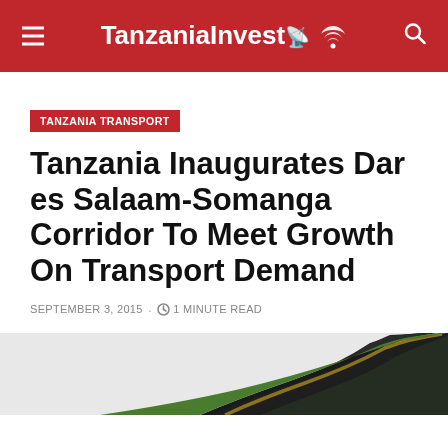TanzaniaInvest
TANZANIA TRANSPORT
Tanzania Inaugurates Dar es Salaam-Somanga Corridor To Meet Growth On Transport Demand
SEPTEMBER 3, 2015 · 1 MINUTE READ
[Figure (illustration): A winding road illustration with green grass median and yellow stripe on black asphalt, viewed from above at an angle, on a light grey background.]